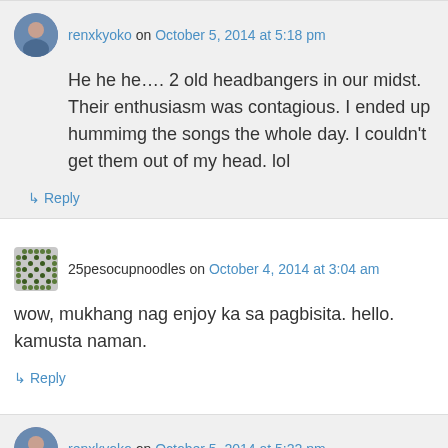renxkyoko on October 5, 2014 at 5:18 pm
He he he…. 2 old headbangers in our midst. Their enthusiasm was contagious. I ended up hummimg the songs the whole day. I couldn't get them out of my head. lol
↳ Reply
25pesocupnoodles on October 4, 2014 at 3:04 am
wow, mukhang nag enjoy ka sa pagbisita. hello. kamusta naman.
↳ Reply
renxkyoko on October 5, 2014 at 5:22 pm